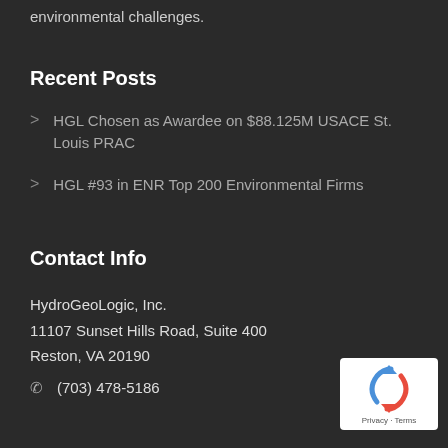environmental challenges.
Recent Posts
HGL Chosen as Awardee on $88.125M USACE St. Louis PRAC
HGL #93 in ENR Top 200 Environmental Firms
Contact Info
HydroGeoLogic, Inc.
11107 Sunset Hills Road, Suite 400
Reston, VA 20190
(703) 478-5186
[Figure (logo): reCAPTCHA badge with Privacy and Terms links]